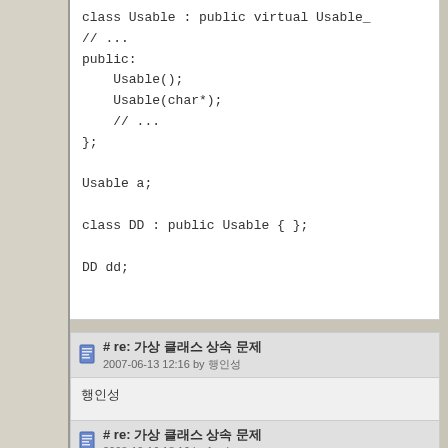class Usable : public virtual Usable_
// ...
public:
Usable();
Usable(char*);
// ...
};

Usable a;

class DD : public Usable { };

DD dd;
# re: 가상 클래스 상속 문제
2007-06-13 12:16 by 황인성
황인성
# re: 가상 클래스 상속 문제
2008-10-16 18:16 by frank.sunny